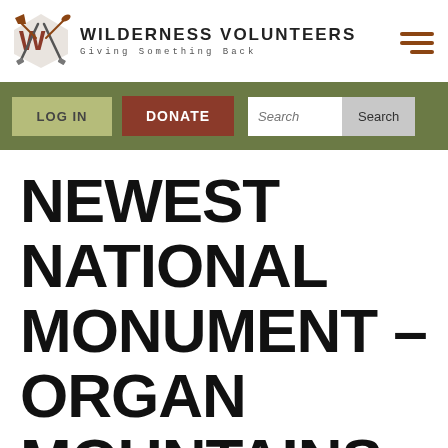[Figure (logo): Wilderness Volunteers logo with crossed tools and arrowhead emblem, text 'WILDERNESS VOLUNTEERS' and tagline 'Giving Something Back']
LOG IN | DONATE | Search
NEWEST NATIONAL MONUMENT – ORGAN MOUNTAINS-DESERT PEAKS